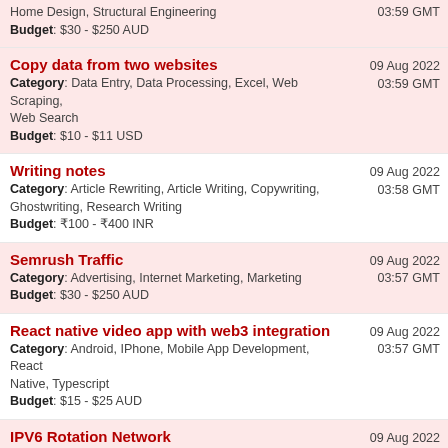Home Design, Structural Engineering
Budget: $30 - $250 AUD
03:59 GMT
Copy data from two websites
Category: Data Entry, Data Processing, Excel, Web Scraping, Web Search
Budget: $10 - $11 USD
09 Aug 2022 03:59 GMT
Writing notes
Category: Article Rewriting, Article Writing, Copywriting, Ghostwriting, Research Writing
Budget: ₹100 - ₹400 INR
09 Aug 2022 03:58 GMT
Semrush Traffic
Category: Advertising, Internet Marketing, Marketing
Budget: $30 - $250 AUD
09 Aug 2022 03:57 GMT
React native video app with web3 integration
Category: Android, IPhone, Mobile App Development, React Native, Typescript
Budget: $15 - $25 AUD
09 Aug 2022 03:57 GMT
IPV6 Rotation Network
Category: Cisco, Computer Security, Linux, Network Administration, System Admin
Budget: $30 - $250 USD
09 Aug 2022 03:56 GMT
fix in Lora sx1278 module-Arduino Uno with